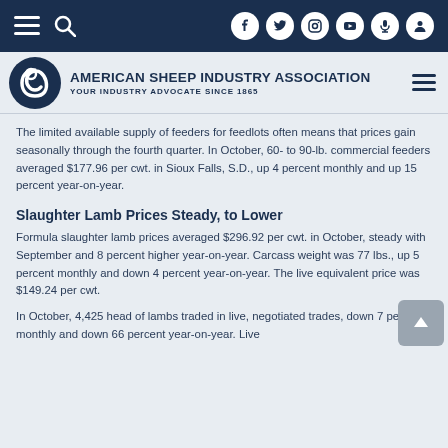American Sheep Industry Association — Your Industry Advocate Since 1865
The limited available supply of feeders for feedlots often means that prices gain seasonally through the fourth quarter. In October, 60- to 90-lb. commercial feeders averaged $177.96 per cwt. in Sioux Falls, S.D., up 4 percent monthly and up 15 percent year-on-year.
Slaughter Lamb Prices Steady, to Lower
Formula slaughter lamb prices averaged $296.92 per cwt. in October, steady with September and 8 percent higher year-on-year. Carcass weight was 77 lbs., up 5 percent monthly and down 4 percent year-on-year. The live equivalent price was $149.24 per cwt.
In October, 4,425 head of lambs traded in live, negotiated trades, down 7 percent monthly and down 66 percent year-on-year. Live